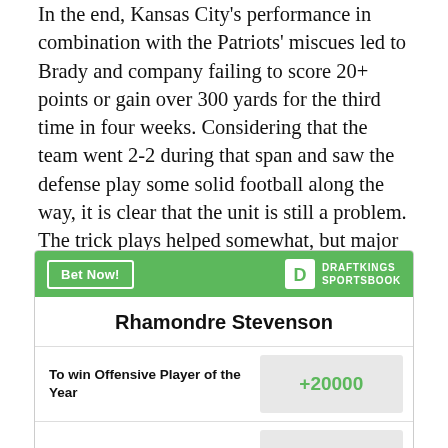In the end, Kansas City's performance in combination with the Patriots' miscues led to Brady and company failing to score 20+ points or gain over 300 yards for the third time in four weeks. Considering that the team went 2-2 during that span and saw the defense play some solid football along the way, it is clear that the unit is still a problem. The trick plays helped somewhat, but major questions about the offensive execution still remain.
| Player | Bet |
| --- | --- |
| Rhamondre Stevenson |  |
| To win Offensive Player of the Year | +20000 |
| Most Rushing Yards in League | +6000 |